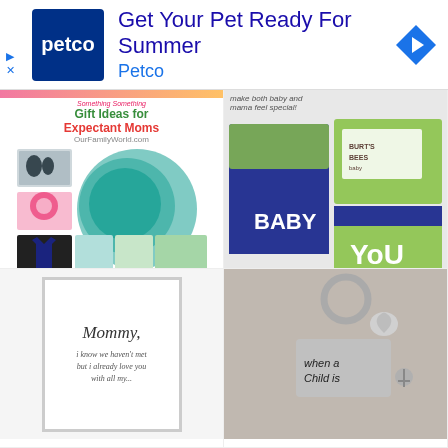[Figure (screenshot): Petco advertisement banner: 'Get Your Pet Ready For Summer' with Petco logo and navigation arrow]
[Figure (screenshot): Gift Ideas for Expectant Moms collage from gift.ftempo.com with helpful/non helpful buttons]
[Figure (screenshot): Baby gift box set pinterest image showing decorated boxes with 'BABY' and 'YOU' text, from pinterest.com with helpful/non helpful buttons]
[Figure (screenshot): Bottom left partial image: white framed print with cursive 'Mommy' text]
[Figure (screenshot): Bottom right partial image: keychain with charms reading 'when a child is']